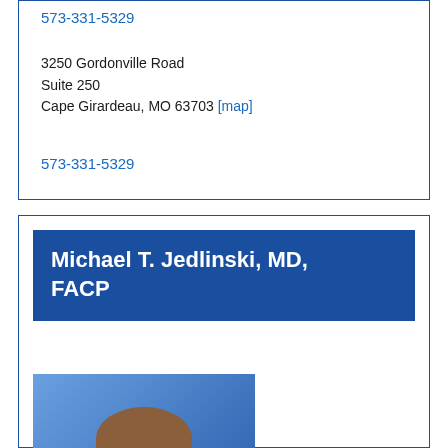573-331-5329
3250 Gordonville Road
Suite 250
Cape Girardeau, MO 63703 [map]
573-331-5329
Michael T. Jedlinski, MD, FACP
[Figure (photo): Professional headshot of Dr. Michael T. Jedlinski, a middle-aged man with brown hair, smiling, wearing a white coat, against a blue background.]